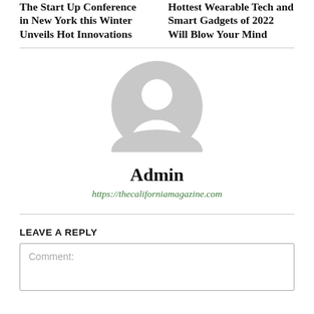The Start Up Conference in New York this Winter Unveils Hot Innovations
Hottest Wearable Tech and Smart Gadgets of 2022 Will Blow Your Mind
[Figure (illustration): Gray circular avatar/profile placeholder icon with a person silhouette]
Admin
https://thecaliforniamagazine.com
LEAVE A REPLY
Comment: